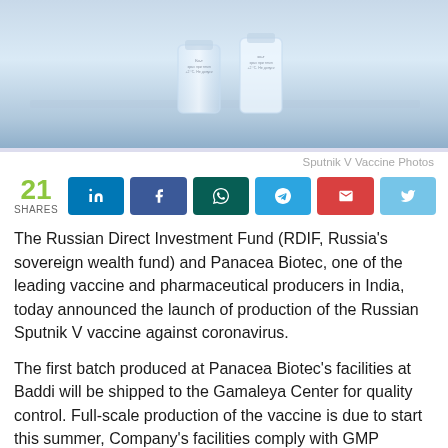[Figure (photo): Close-up photo of Sputnik V vaccine vials on a light blue surface]
Sputnik V Vaccine Photos
[Figure (infographic): Social share bar showing 21 SHARES with LinkedIn, Facebook, WhatsApp, Telegram, Email, and Twitter buttons]
The Russian Direct Investment Fund (RDIF, Russia's sovereign wealth fund) and Panacea Biotec, one of the leading vaccine and pharmaceutical producers in India, today announced the launch of production of the Russian Sputnik V vaccine against coronavirus.
The first batch produced at Panacea Biotec's facilities at Baddi will be shipped to the Gamaleya Center for quality control. Full-scale production of the vaccine is due to start this summer, Company's facilities comply with GMP standards and are prequalified by WHO. Sputnik V was